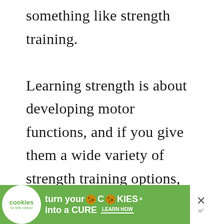something like strength training.

Learning strength is about developing motor functions, and if you give them a wide variety of strength training options, like bodyweight exercises, kettlebells, or light weights, you are going to set them up for enhanced performance as they find sports that
[Figure (other): Advertisement banner: 'cookies for kids cancer — turn your COOKIES into a CURE LEARN HOW' with green background, cookie icon, and a close button with X symbol and 'w' logo]